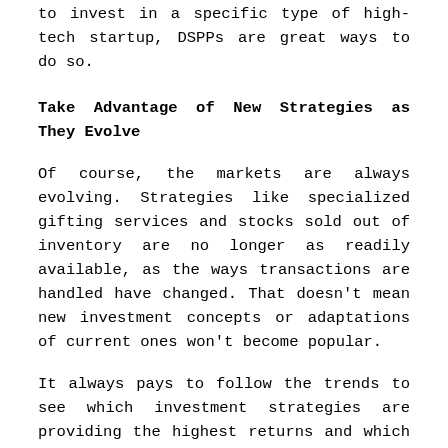to invest in a specific type of high-tech startup, DSPPs are great ways to do so.
Take Advantage of New Strategies as They Evolve
Of course, the markets are always evolving. Strategies like specialized gifting services and stocks sold out of inventory are no longer as readily available, as the ways transactions are handled have changed. That doesn't mean new investment concepts or adaptations of current ones won't become popular.
It always pays to follow the trends to see which investment strategies are providing the highest returns and which ones are fading. Yes, that takes a little time, but it always pays to stay abreast of